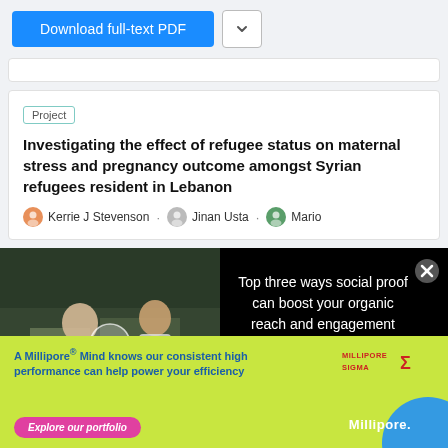[Figure (screenshot): Download full-text PDF button (blue) with chevron dropdown button]
[Figure (screenshot): White content box partially visible at top]
Project
Investigating the effect of refugee status on maternal stress and pregnancy outcome amongst Syrian refugees resident in Lebanon
Kerrie J Stevenson · Jinan Usta · Mario
[Figure (screenshot): Video overlay: Top three ways social proof can boost your organic reach and engagement. Left side shows lab scientists video still with play button. Right side has white text on black background with close X button.]
[Figure (screenshot): Advertisement banner: A Millipore® Mind knows our consistent high performance can help power your efficiency. Explore our portfolio button in pink. MilliporeSigma logo and Millipore wordmark on right. Yellow-green background with blue circle.]